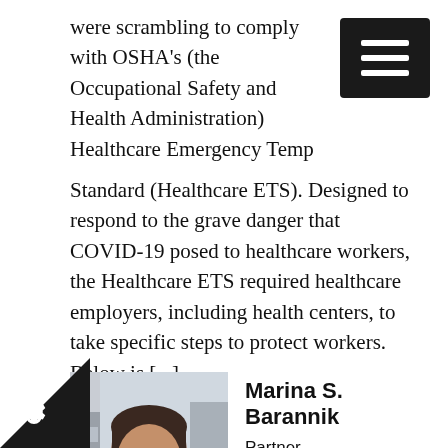were scrambling to comply with OSHA's (the Occupational Safety and Health Administration) Healthcare Emergency Temporary Standard (Healthcare ETS). Designed to respond to the grave danger that COVID-19 posed to healthcare workers, the Healthcare ETS required healthcare employers, including health centers, to take specific steps to protect workers. Below is [...]
Read more
[Figure (photo): Headshot photo of Marina S. Barannik, a woman with dark hair wearing a dark jacket and yellow patterned scarf, with a building/sky background]
Marina S. Barannik
Partner,
Feldesman Tucker Leifer Fidell LLP